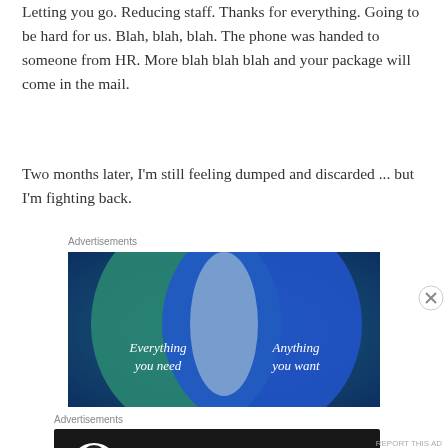Letting you go. Reducing staff. Thanks for everything. Going to be hard for us. Blah, blah, blah. The phone was handed to someone from HR. More blah blah blah and your package will come in the mail.
Two months later, I'm still feeling dumped and discarded ... but I'm fighting back.
Advertisements
[Figure (illustration): Advertisement showing a Venn diagram-style image with two overlapping circles on a teal and blue gradient background. Left circle labeled 'Everything you need', right circle labeled 'Anything you want'.]
Advertisements
[Figure (illustration): Advertisement on dark background with a tree/person icon in a white circle, text 'Turn your blog into a money-making online course.' and a right arrow button.]